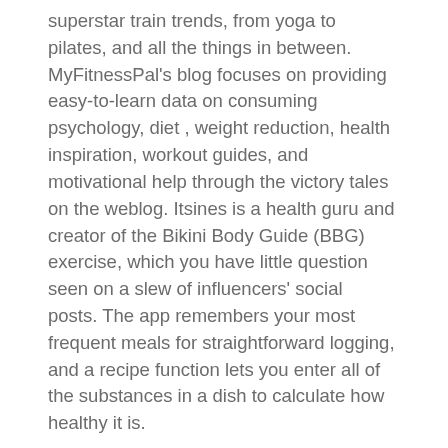superstar train trends, from yoga to pilates, and all the things in between. MyFitnessPal's blog focuses on providing easy-to-learn data on consuming psychology, diet , weight reduction, health inspiration, workout guides, and motivational help through the victory tales on the weblog. Itsines is a health guru and creator of the Bikini Body Guide (BBG) exercise, which you have little question seen on a slew of influencers' social posts. The app remembers your most frequent meals for straightforward logging, and a recipe function lets you enter all of the substances in a dish to calculate how healthy it is.
The Australian fitness pro and 2016 Reebok Global Ambassador sticks to what she does greatest in the type of her Emily Skye MATCH life-style program, which gives her 14 million users a balanced strategy to wellness in the type of physique-sculpting exercises, nutritionally balanced meal plans, magnificence classes,